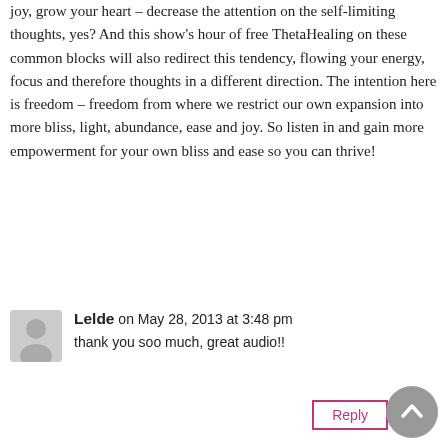joy, grow your heart – decrease the attention on the self-limiting thoughts, yes? And this show's hour of free ThetaHealing on these common blocks will also redirect this tendency, flowing your energy, focus and therefore thoughts in a different direction. The intention here is freedom – freedom from where we restrict our own expansion into more bliss, light, abundance, ease and joy. So listen in and gain more empowerment for your own bliss and ease so you can thrive!
Lelde on May 28, 2013 at 3:48 pm
thank you soo much, great audio!!